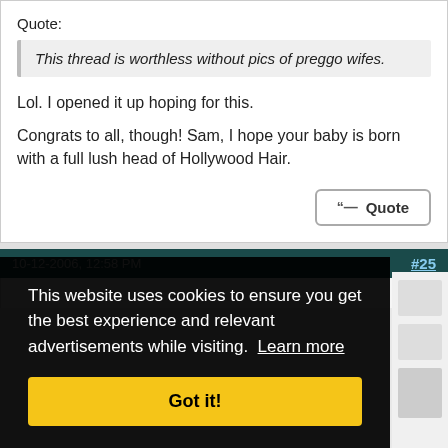Quote:
This thread is worthless without pics of preggo wifes.
Lol. I opened it up hoping for this.

Congrats to all, though! Sam, I hope your baby is born with a full lush head of Hollywood Hair.
Quote (button)
#25
This website uses cookies to ensure you get the best experience and relevant advertisements while visiting. Learn more
Got it!